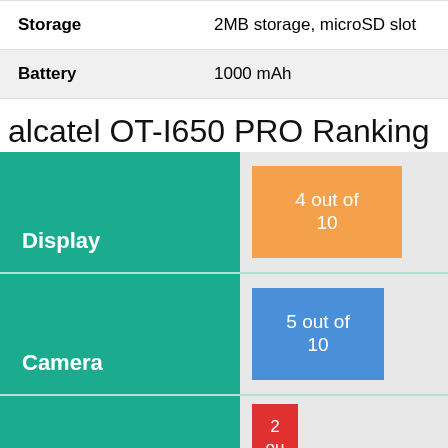| Feature | Value |
| --- | --- |
| Storage | 2MB storage, microSD slot |
| Battery | 1000 mAh |
alcatel OT-I650 PRO Ranking
[Figure (infographic): Ranking infographic showing Display: 4 out of 10 (orange box), Camera: 5 out of 10 (blue box), Memory: 2 out of 10 (red box, partially visible), each with a teal label column on the left.]